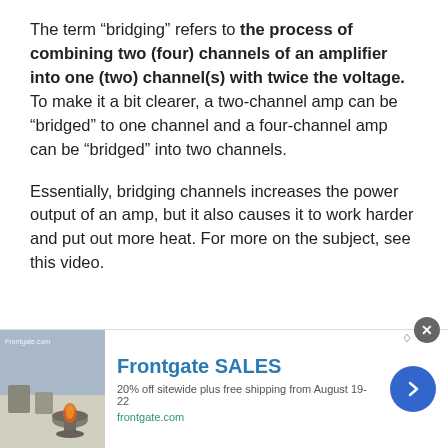The term “bridging” refers to the process of combining two (four) channels of an amplifier into one (two) channel(s) with twice the voltage. To make it a bit clearer, a two-channel amp can be “bridged” to one channel and a four-channel amp can be “bridged” into two channels.
Essentially, bridging channels increases the power output of an amp, but it also causes it to work harder and put out more heat. For more on the subject, see this video.
[Figure (photo): Advertisement banner showing food items (bread rolls) with play and close controls]
[Figure (photo): Bottom advertisement bar for Frontgate SALES showing outdoor furniture with fire pit, text: 20% off sitewide plus free shipping from August 19-22, frontgate.com]